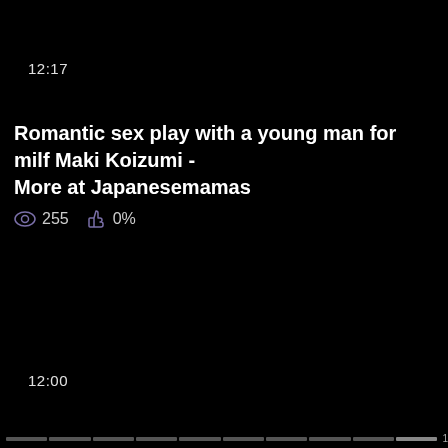12:17
Romantic sex play with a young man for milf Maki Koizumi - More at Japanesemamas
255  0%
12:00
1